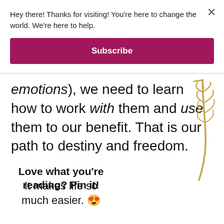Hey there! Thanks for visiting! You're here to change the world. We're here to help.
Subscribe
emotions), we need to learn how to work with them and use them to our benefit. That is our path to destiny and freedom.
Love what you're reading? Pin it!
It makes life so much easier. 😍